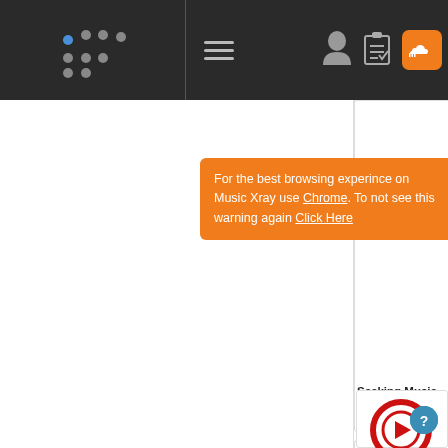[Figure (screenshot): Music Xray website navigation bar with logo dots, hamburger menu, person icon, clipboard icon, and SoundCloud orange icon on dark background]
applicable.
For the best browsing experince on Music Xray use Chrome. To not see this warning again Click Here
Reggie Callowa
[Figure (logo): DICTIVE2M logo with red circular play button icon and text: CTION, PUBLISHING, MAN]
Seeking Music
Seeking alternative already garnered
We are an dio